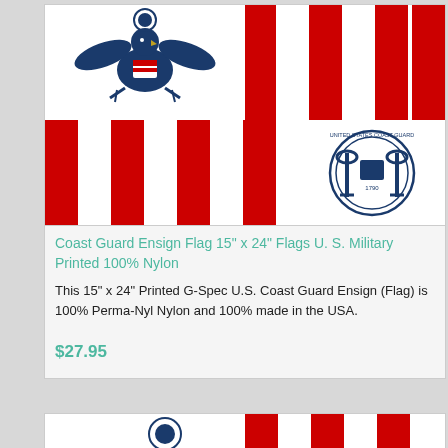[Figure (illustration): U.S. Coast Guard Ensign Flag — white background with vertical red stripes, U.S. Great Seal eagle on upper left canton, and Coast Guard circular seal on lower right]
Coast Guard Ensign Flag 15" x 24" Flags U. S. Military Printed 100% Nylon
This 15" x 24" Printed G-Spec U.S. Coast Guard Ensign (Flag) is 100% Perma-Nyl Nylon and 100% made in the USA.
$27.95
[Figure (illustration): Partial view of another U.S. Coast Guard flag product — bottom of page]